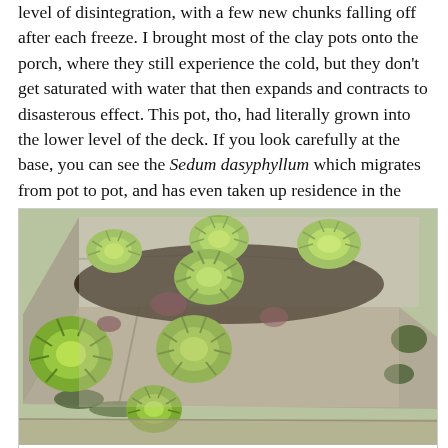level of disintegration, with a few new chunks falling off after each freeze. I brought most of the clay pots onto the porch, where they still experience the cold, but they don't get saturated with water that then expands and contracts to disasterous effect. This pot, tho, had literally grown into the lower level of the deck. If you look carefully at the base, you can see the Sedum dasyphyllum which migrates from pot to pot, and has even taken up residence in the moss of the porch.
[Figure (photo): A crumbling stone or concrete planter/trough covered in moss, filled with light green succulent rosettes (Sempervivum or similar), photographed from above at an angle. The planter is heavily weathered and breaking apart, with plants growing through the cracks.]